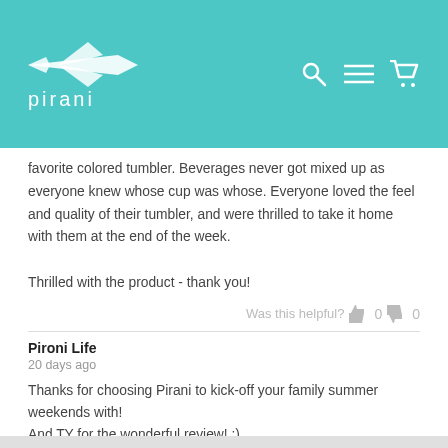pirani
favorite colored tumbler. Beverages never got mixed up as everyone knew whose cup was whose. Everyone loved the feel and quality of their tumbler, and were thrilled to take it home with them at the end of the week.

Thrilled with the product - thank you!
Was this helpful? 0 0
Pironi Life
20 days ago

Thanks for choosing Pirani to kick-off your family summer weekends with!
And TY for the wonderful review! :)